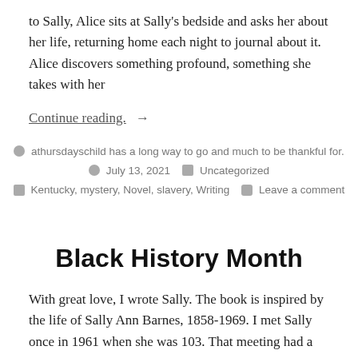to Sally, Alice sits at Sally's bedside and asks her about her life, returning home each night to journal about it. Alice discovers something profound, something she takes with her
Continue reading. →
athursdayschild has a long way to go and much to be thankful for.
July 13, 2021   Uncategorized
Kentucky, mystery, Novel, slavery, Writing   Leave a comment
Black History Month
With great love, I wrote Sally. The book is inspired by the life of Sally Ann Barnes, 1858-1969. I met Sally once in 1961 when she was 103. That meeting had a lasting impression on me. I researched her life off and on for seven years. Bronze Winner of the Wishing Shelf Book...